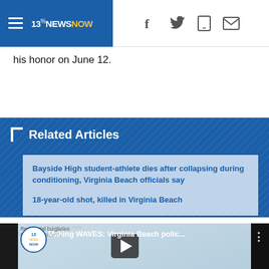13NewNOW — navigation bar with social icons
his honor on June 12.
Related Articles
Bayside High student-athlete dies after collapsing during conditioning, Virginia Beach officials say
18-year-old shot, killed in Virginia Beach
[Figure (screenshot): YouTube video thumbnail showing Making WAVES: Virginia Beach polic... with a map of Virginia Beach residential burglaries and a play button overlay]